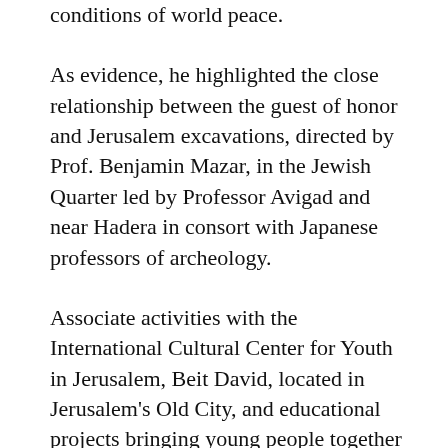conditions of world peace.
As evidence, he highlighted the close relationship between the guest of honor and Jerusalem excavations, directed by Prof. Benjamin Mazar, in the Jewish Quarter led by Professor Avigad and near Hadera in consort with Japanese professors of archeology.
Associate activities with the International Cultural Center for Youth in Jerusalem, Beit David, located in Jerusalem's Old City, and educational projects bringing young people together from Christian, Muslim, Arab, Armenian and Jewish backgrounds, were also championed by the minister